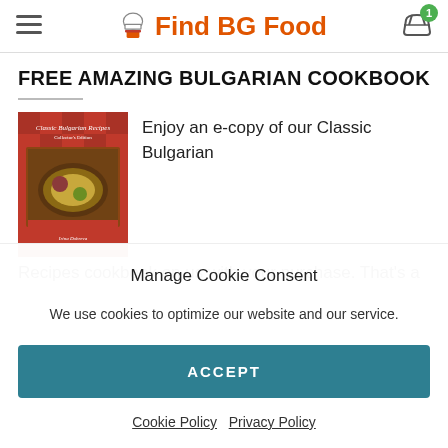Find BG Food
FREE AMAZING BULGARIAN COOKBOOK
[Figure (photo): Book cover of Classic Bulgarian Recipes Collector's Edition cookbook with food photography on a red checkered background]
Enjoy an e-copy of our Classic Bulgarian Recipes cookbook on us with your purchase. That's a
Manage Cookie Consent
We use cookies to optimize our website and our service.
ACCEPT
Cookie Policy   Privacy Policy